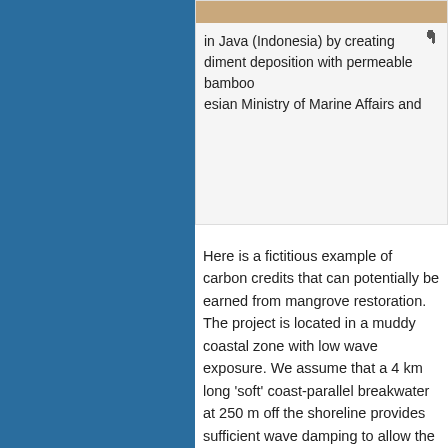in Java (Indonesia) by creating diment deposition with permeable bamboo esian Ministry of Marine Affairs and
Here is a fictitious example of carbon credits that can potentially be earned from mangrove restoration. The project is located in a muddy coastal zone with low wave exposure. We assume that a 4 km long 'soft' coast-parallel breakwater at 250 m off the shoreline provides sufficient wave damping to allow the natural recovery of mangroves landward from the breakwater. According to the earlier given estimate, the resulting 100 ha mangrove forest can store about 160-210 tons C/yr